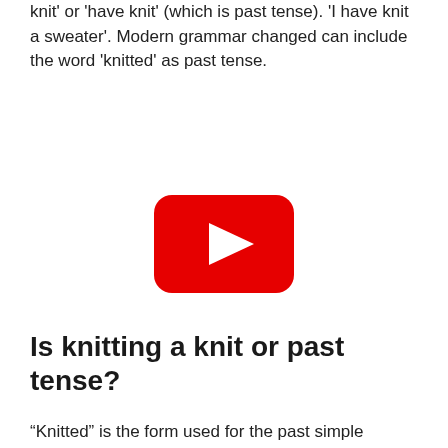knit' or 'have knit' (which is past tense). 'I have knit a sweater'. Modern grammar changed can include the word 'knitted' as past tense.
[Figure (other): YouTube play button icon — red rounded rectangle with white triangle play arrow]
Is knitting a knit or past tense?
“Knitted” is the form used for the past simple